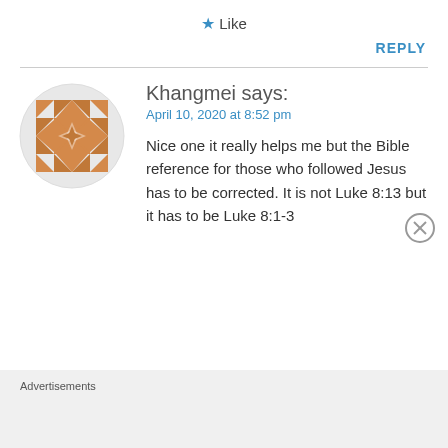★ Like
REPLY
[Figure (illustration): Orange geometric mosaic/avatar icon in a circular shape with diamond and triangle patterns]
Khangmei says:
April 10, 2020 at 8:52 pm
Nice one it really helps me but the Bible reference for those who followed Jesus has to be corrected. It is not Luke 8:13 but it has to be Luke 8:1-3
Advertisements